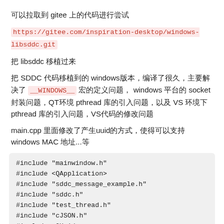可以拉取到 gitee 上的代码进行尝试
https://gitee.com/inspiration-desktop/windows-libsddc.git
把 libsddc 移植过来
把 SDDC 代码移植到的 windows版本，编译了很久，主要解决了 __WINDOWS__ 宏的定义问题， windows 平台的 socket 封装问题，QT环境 pthread 库的引入问题，以及 VS 环境下 pthread 库的引入问题，VS代码的修改问题
main.cpp 里面修改了产生uuid的方式，使得可以支持 windows MAC 地址...等
#include "mainwindow.h"
#include <QApplication>
#include "sddc_message_example.h"
#include "sddc.h"
#include "test_thread.h"
#include "cJSON.h"
#include <QUuid>